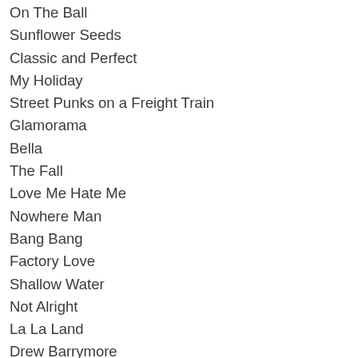On The Ball
Sunflower Seeds
Classic and Perfect
My Holiday
Street Punks on a Freight Train
Glamorama
Bella
The Fall
Love Me Hate Me
Nowhere Man
Bang Bang
Factory Love
Shallow Water
Not Alright
La La Land
Drew Barrymore
Guilty Pleasure
Sour Patch Kids